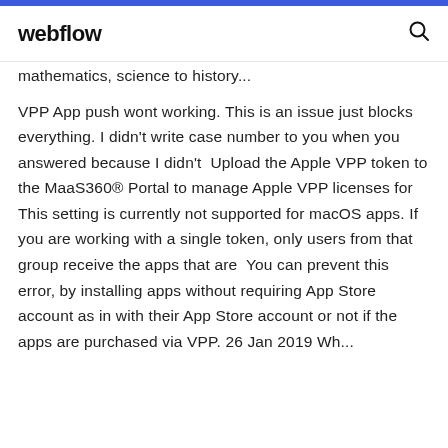webflow
mathematics, science to history...
VPP App push wont working. This is an issue just blocks everything. I didn't write case number to you when you answered because I didn't  Upload the Apple VPP token to the MaaS360® Portal to manage Apple VPP licenses for This setting is currently not supported for macOS apps. If you are working with a single token, only users from that group receive the apps that are  You can prevent this error, by installing apps without requiring App Store account as in with their App Store account or not if the apps are purchased via VPP. 26 Jan 2019 Wh...